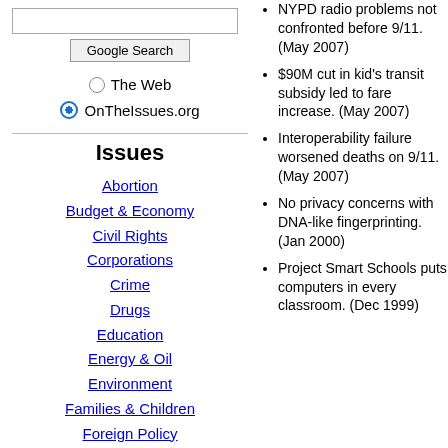[Figure (screenshot): Google Search box with text input field and Google Search button]
The Web
OnTheIssues.org
Issues
Abortion
Budget & Economy
Civil Rights
Corporations
Crime
Drugs
Education
Energy & Oil
Environment
Families & Children
Foreign Policy
Free Trade
Government Reform
Gun Control
Health Care
Homeland Security
NYPD radio problems not confronted before 9/11. (May 2007)
$90M cut in kid's transit subsidy led to fare increase. (May 2007)
Interoperability failure worsened deaths on 9/11. (May 2007)
No privacy concerns with DNA-like fingerprinting. (Jan 2000)
Project Smart Schools puts computers in every classroom. (Dec 1999)
★ Rudy Gi